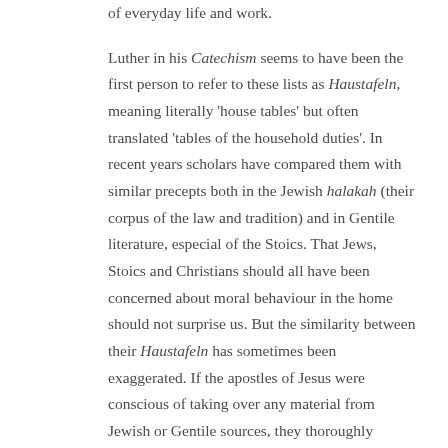of everyday life and work.
Luther in his *Catechism* seems to have been the first person to refer to these lists as *Haustafeln*, meaning literally 'house tables' but often translated 'tables of the household duties'. In recent years scholars have compared them with similar precepts both in the Jewish *halakah* (their corpus of the law and tradition) and in Gentile literature, especial of the Stoics. That Jews, Stoics and Christians should all have been concerned about moral behaviour in the home should not surprise us. But the similarity between their *Haustafeln* has sometimes been exaggerated. If the apostles of Jesus were conscious of taking over any material from Jewish or Gentile sources, they thoroughly